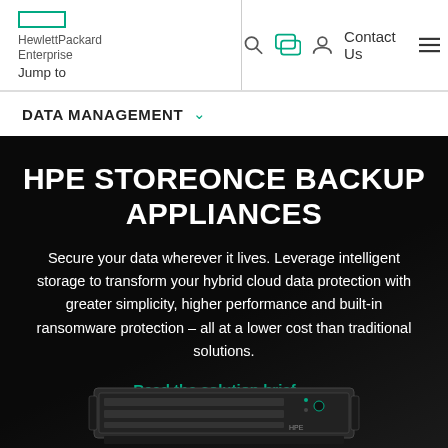Hewlett Packard Enterprise — Jump to | Contact Us
DATA MANAGEMENT
HPE STOREONCE BACKUP APPLIANCES
Secure your data wherever it lives. Leverage intelligent storage to transform your hybrid cloud data protection with greater simplicity, higher performance and built-in ransomware protection – all at a lower cost than traditional solutions.
Read the solution brief →
Read the blog →
[Figure (photo): HPE StoreOnce backup appliance hardware (rack-mounted server) shown at bottom of page]